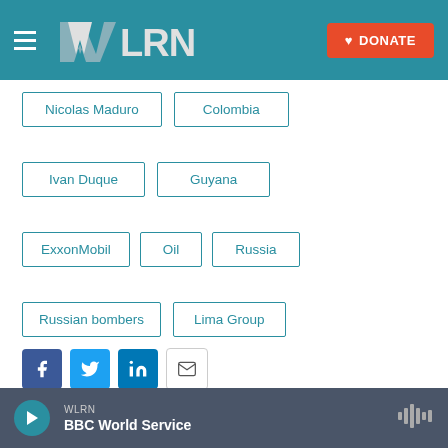WLRN | DONATE
Nicolas Maduro
Colombia
Ivan Duque
Guyana
ExxonMobil
Oil
Russia
Russian bombers
Lima Group
Bruce Bagley
University of Miami
news
Local News
WLRN BBC World Service